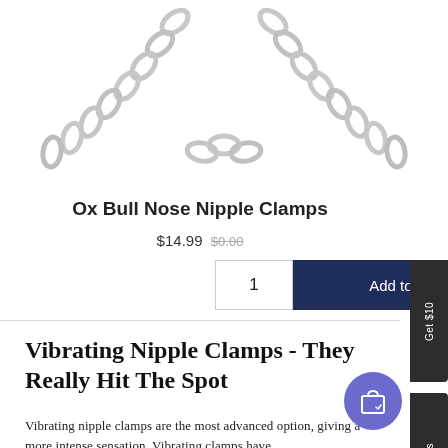[Figure (photo): Partial view of a silver chain necklace/jewelry against white background, showing the top arc portion of a metal chain]
Ox Bull Nose Nipple Clamps
$14.99  $0.00
1  Add to cart
Vibrating Nipple Clamps - They Really Hit The Spot
Vibrating nipple clamps are the most advanced option, giving a more intense sensation. Vibrating clamps have